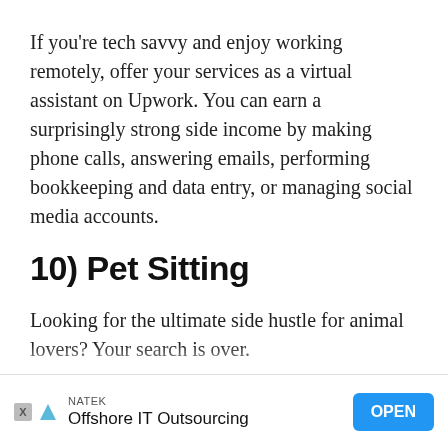If you're tech savvy and enjoy working remotely, offer your services as a virtual assistant on Upwork. You can earn a surprisingly strong side income by making phone calls, answering emails, performing bookkeeping and data entry, or managing social media accounts.
10) Pet Sitting
Looking for the ultimate side hustle for animal lovers? Your search is over.
If you have your own friendly dogs or cats, hosting other people's pets in your home as one of th... ly on
[Figure (other): Advertisement banner: NATEK brand, 'Offshore IT Outsourcing' tagline, with an OPEN button]